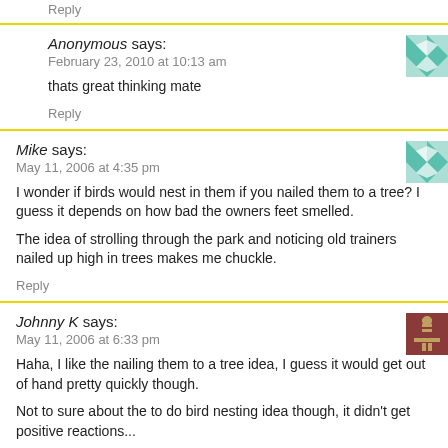Reply
Anonymous says:
February 23, 2010 at 10:13 am
thats great thinking mate
Reply
Mike says:
May 11, 2006 at 4:35 pm
I wonder if birds would nest in them if you nailed them to a tree? I guess it depends on how bad the owners feet smelled.
The idea of strolling through the park and noticing old trainers nailed up high in trees makes me chuckle.
Reply
Johnny K says:
May 11, 2006 at 6:33 pm
Haha, I like the nailing them to a tree idea, I guess it would get out of hand pretty quickly though.
Not to sure about the to do bird nesting idea though, it didn't get positive reactions...